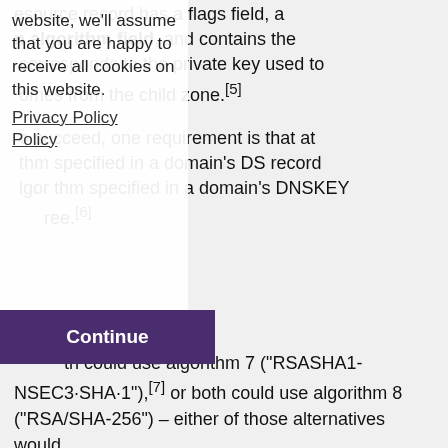esource record has a flags field, an algorithm field, and contains the corresponds to the private key used to omes from the child zone.[5]
o succeed, one requirement is that at thm specified in a domain's DS record thm specified in a domain's DNSKEY ree.[6]
th could use algorithm 7 ("RSASHA1-NSEC3-SHA1"),[7] or both could use algorithm 8 ("RSA/SHA-256") – either of those alternatives would technically work.[8] However, if a domain's only DS record used one algorithm while the domain's only DNSKEY record used a different algorithm, that incompatibility would be, in-and-of-itself, fatal to successful DNSSEC validation of that trust chain. (This is far from the only way DNSSEC could be